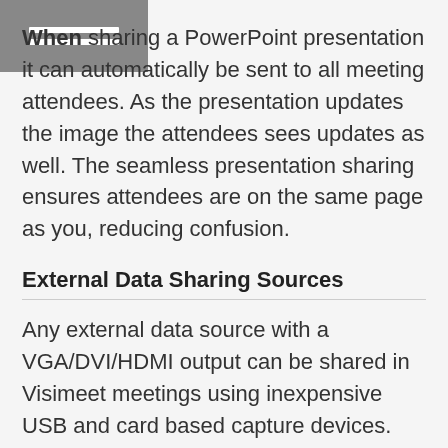[Figure (other): Grey rectangle with two white horizontal lines, functioning as a hamburger menu icon or logo placeholder in the top-left corner]
When sharing a PowerPoint presentation it can automatically be sent to all meeting attendees. As the presentation updates the image the attendees sees updates as well. The seamless presentation sharing ensures attendees are on the same page as you, reducing confusion.
External Data Sharing Sources
Any external data source with a VGA/DVI/HDMI output can be shared in Visimeet meetings using inexpensive USB and card based capture devices. Such devices provide the means to transmit multiple and simultaneous data sources such as live microscope, telescope, radiology, seismic, and other proprietary computer output images into a meeting, in